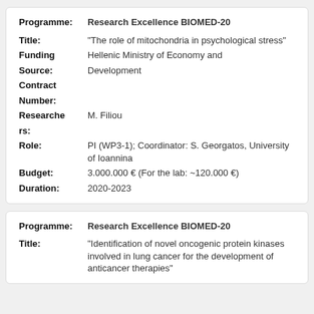| Field | Value |
| --- | --- |
| Programme: | Research Excellence BIOMED-20 |
| Title: | "The role of mitochondria in psychological stress" |
| Funding Source: | Hellenic Ministry of Economy and Development |
| Contract Number: |  |
| Researchers: | M. Filiou |
| Role: | PI (WP3-1); Coordinator: S. Georgatos, University of Ioannina |
| Budget: | 3.000.000 € (For the lab: ~120.000 €) |
| Duration: | 2020-2023 |
| Field | Value |
| --- | --- |
| Programme: | Research Excellence BIOMED-20 |
| Title: | "Identification of novel oncogenic protein kinases involved in lung cancer for the development of anticancer therapies" |